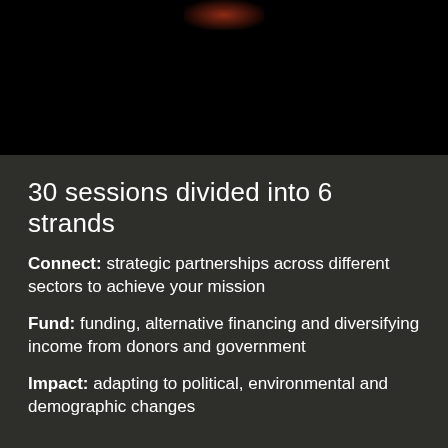[Figure (photo): Dark/black photo background with a faint reddish glow at the top center, appearing to be a cropped image of a person or event scene.]
30 sessions divided into 6 strands
Connect: strategic partnerships across different sectors to achieve your mission
Fund: funding, alternative financing and diversifying income from donors and government
Impact: adapting to political, environmental and demographic changes